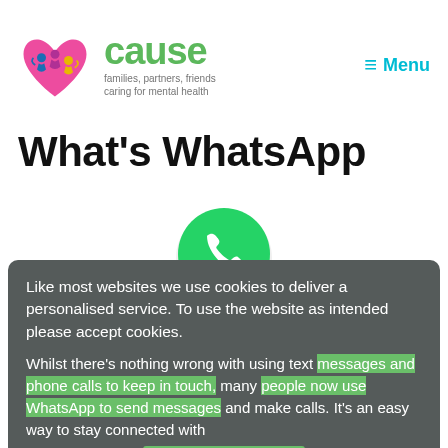[Figure (logo): CAUSE charity logo with heart and figures icon, green text reading 'cause', tagline 'families, partners, friends caring for mental health']
≡ Menu
What's WhatsApp
[Figure (logo): WhatsApp green circle logo with phone icon]
Like most websites we use cookies to deliver a personalised service. To use the website as intended please accept cookies.
Whilst there's nothing wrong with using text messages and phone calls to keep in touch, many people now use WhatsApp to send messages and make calls. It's an easy way to stay connected with